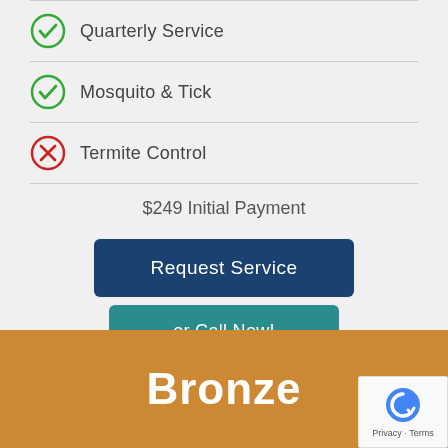Quarterly Service
Mosquito & Tick
Termite Control
$249 Initial Payment
Request Service
or Call Now!
Bronze